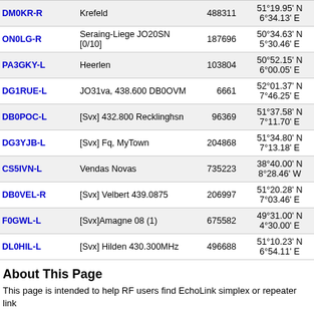| Callsign | Location | Node | Coordinates | Zone | Last |
| --- | --- | --- | --- | --- | --- |
| DM0KR-R | Krefeld | 488311 | 51°19.95' N 6°34.13' E | JO31gh | 462 |
| ON0LG-R | Seraing-Liege JO20SN [0/10] | 187696 | 50°34.63' N 5°30.46' E | JO20sn | 462 |
| PA3GKY-L | Heerlen | 103804 | 50°52.15' N 6°00.05' E | JO30au | 463 |
| DG1RUE-L | JO31va, 438.600 DB0OVM | 6661 | 52°01.37' N 7°46.25' E | JO32va | 463 |
| DB0POC-L | [Svx] 432.800 Recklinghsn | 96369 | 51°37.58' N 7°11.70' E | JO31op | 463 |
| DG3YJB-L | [Svx] Fq, MyTown | 204868 | 51°34.80' N 7°13.18' E | JO31on | 463 |
| CS5IVN-L | Vendas Novas | 735223 | 38°40.00' N 8°28.46' W | IM58sq | 464 |
| DB0VEL-R | [Svx] Velbert 439.0875 | 206997 | 51°20.28' N 7°03.46' E | JO31mi | 464 |
| F0GWL-L | [Svx]Amagne 08 (1) | 675582 | 49°31.00' N 4°30.00' E | JN29gm | 464 |
| DL0HIL-L | [Svx] Hilden 430.300MHz | 496688 | 51°10.23' N 6°54.11' E | JO31ke | 464 |
About This Page
This page is intended to help RF users find EchoLink simplex or repeater link
The table above shows information collected during the past several minutes. only stations shown are those which have entered location information on the